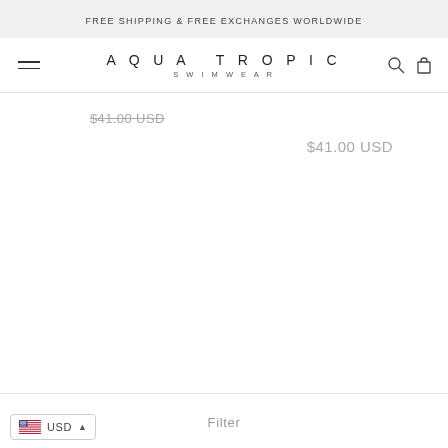FREE SHIPPING & FREE EXCHANGES WORLDWIDE
AQUA TROPIC SWIMWEAR
$41.00 USD
$41.00 USD
Filter
USD